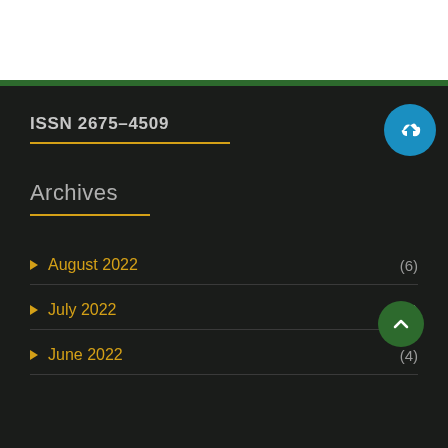ISSN 2675-4509
Archives
▶ August 2022 (6)
▶ July 2022 (4)
▶ June 2022 (4)